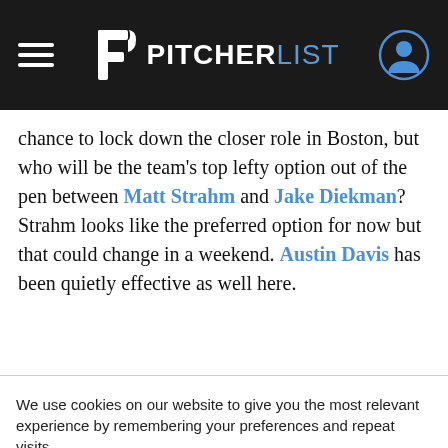PITCHERLIST
chance to lock down the closer role in Boston, but who will be the team’s top lefty option out of the pen between Matt Strahm and Jake Diekman? Strahm looks like the preferred option for now but that could change in a weekend. Austin Davis has been quietly effective as well here.
We use cookies on our website to give you the most relevant experience by remembering your preferences and repeat visits.
Reject All
Accept All